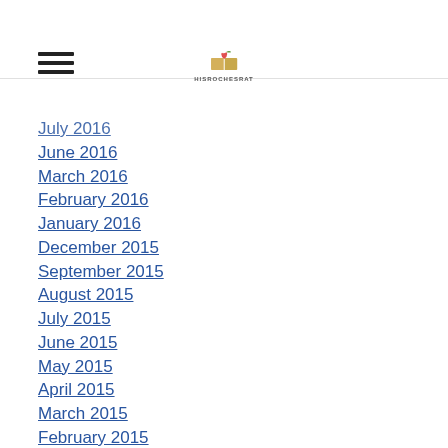[hamburger menu icon] [HisRochesFat logo]
July 2016
June 2016
March 2016
February 2016
January 2016
December 2015
September 2015
August 2015
July 2015
June 2015
May 2015
April 2015
March 2015
February 2015
January 2015
December 2014
November 2014
October 2014
September 2014